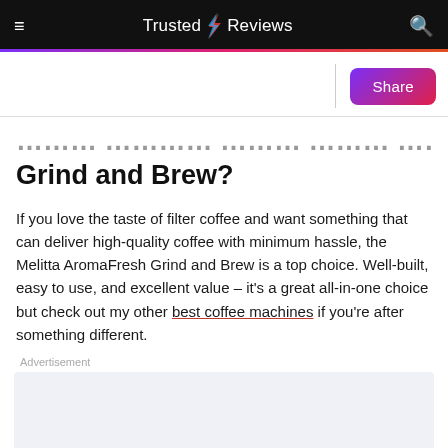Trusted Reviews
Grind and Brew?
If you love the taste of filter coffee and want something that can deliver high-quality coffee with minimum hassle, the Melitta AromaFresh Grind and Brew is a top choice. Well-built, easy to use, and excellent value – it's a great all-in-one choice but check out my other best coffee machines if you're after something different.
Advertisement